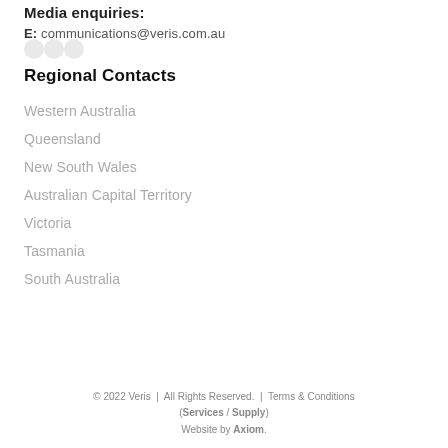Media enquiries:
E: communications@veris.com.au
Regional Contacts
Western Australia
Queensland
New South Wales
Australian Capital Territory
Victoria
Tasmania
South Australia
© 2022 Veris | All Rights Reserved. | Terms & Conditions (Services / Supply) Website by Axiom.